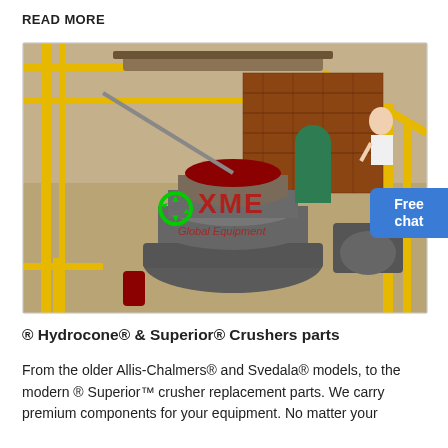READ MORE
[Figure (photo): Aerial/overhead view of an industrial cone crusher (Hydrocone/Superior type) installed at a mining or quarrying site, with yellow metal scaffolding/framework, conveyor belts, and surrounding machinery. A watermark reads 'XME' with a recycling logo. A 'Free chat' button overlay is visible in the upper right area of the image.]
® Hydrocone® & Superior® Crushers parts
From the older Allis-Chalmers® and Svedala® models, to the modern ® Superior™ crusher replacement parts. We carry premium components for your equipment. No matter your